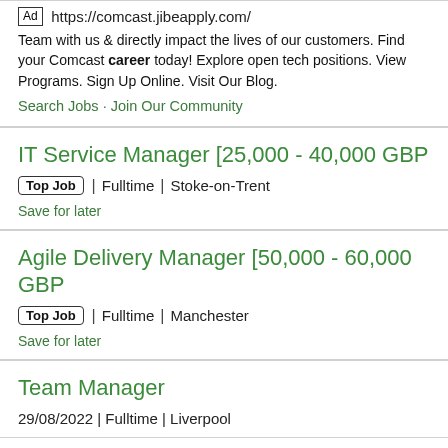Ad https://comcast.jibeapply.com/ Team with us & directly impact the lives of our customers. Find your Comcast career today! Explore open tech positions. View Programs. Sign Up Online. Visit Our Blog. Search Jobs · Join Our Community
IT Service Manager [25,000 - 40,000 GBP
Top Job | Fulltime | Stoke-on-Trent
Save for later
Agile Delivery Manager [50,000 - 60,000 GBP
Top Job | Fulltime | Manchester
Save for later
Team Manager
29/08/2022 | Fulltime | Liverpool